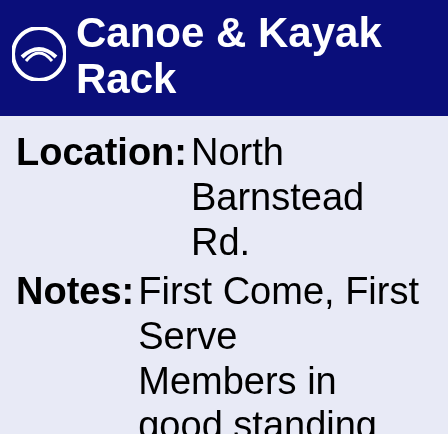Canoe & Kayak Rack
Location: North Barnstead Rd.
Notes: First Come, First Serve Members in good standing can store